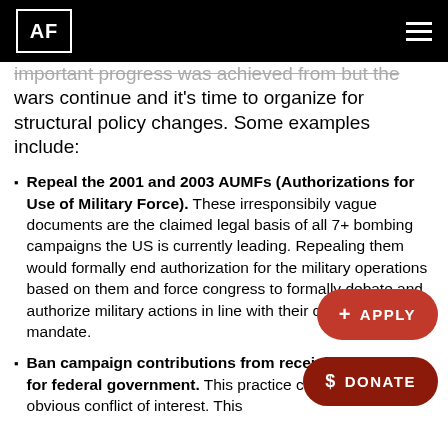AF
important progress was achieved from but the wars continue and it’s time to organize for structural policy changes. Some examples include:
Repeal the 2001 and 2003 AUMFs (Authorizations for Use of Military Force). These irresponsibily vague documents are the claimed legal basis of all 7+ bombing campaigns the US is currently leading. Repealing them would formally end authorization for the military operations based on them and force congress to formally debate and authorize military actions in line with their constitutional mandate.
Ban campaign contributions from receiving or vying for federal government. This practice currently enables obvious conflict of interest. This